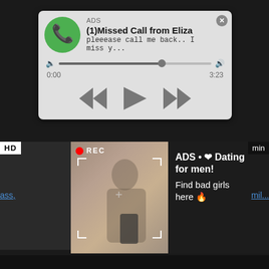[Figure (screenshot): Audio ad notification card: ADS label, title '(1)Missed Call from Eliza', subtitle 'pleeease call me back.. I miss y...', green phone icon, audio progress bar, playback controls (rewind, play, fast-forward), timestamps 0:00 and 3:23]
[Figure (screenshot): Video ad banner with HD badge, REC indicator, photo of young woman taking selfie, and text overlay 'ADS • ❤ Dating for men! Find bad girls here 🔥']
ass,
mil...